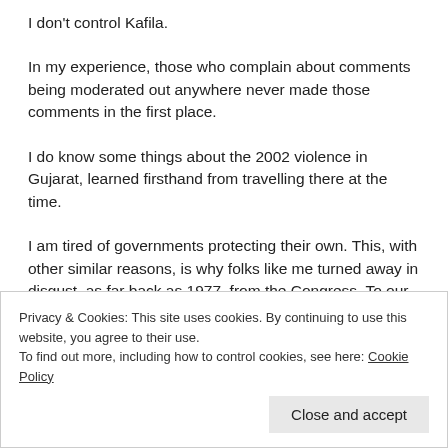I don't control Kafila.
In my experience, those who complain about comments being moderated out anywhere never made those comments in the first place.
I do know some things about the 2002 violence in Gujarat, learned firsthand from travelling there at the time.
I am tired of governments protecting their own. This, with other similar reasons, is why folks like me turned away in disgust, as far back as 1977, from the Congress. To our dismay, we found over the years that the BJP is no different. Case in point:
Kodnani being made Minister by Modi:
Privacy & Cookies: This site uses cookies. By continuing to use this website, you agree to their use.
To find out more, including how to control cookies, see here: Cookie Policy